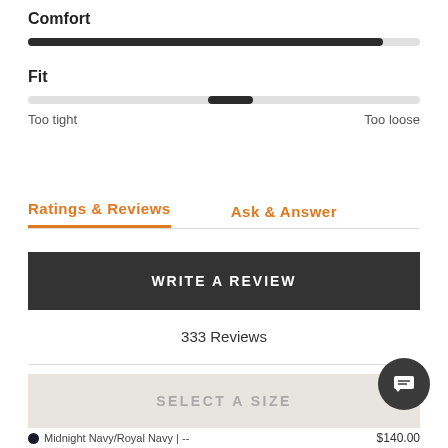Comfort
[Figure (other): Comfort rating bar, nearly full, dark fill on light gray track]
Fit
[Figure (other): Fit rating slider bar with dark fill positioned slightly right of center]
Too tight
Too loose
Ratings & Reviews
Ask & Answer
WRITE A REVIEW
333 Reviews
SELECT A SIZE
Midnight Navy/Royal Navy | --
$140.00